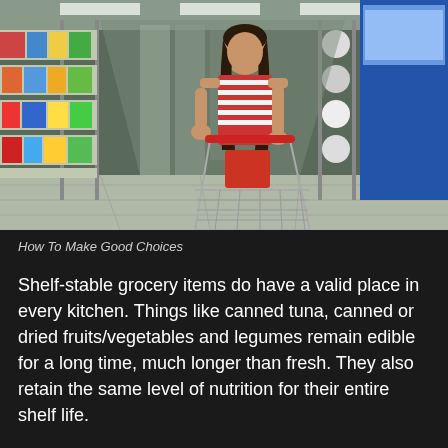[Figure (photo): A woman with long dark hair wearing a red and white striped shirt pushes a shopping cart down a grocery store aisle. The shelves on both sides are stocked with colorful packaged goods. She is holding a basket and shopping items are in the cart. The store has fluorescent lighting and tiled floors.]
How To Make Good Choices
Shelf-stable grocery items do have a valid place in every kitchen.  Things like canned tuna, canned or dried fruits/vegetables and legumes remain edible for a long time, much longer than fresh.  They also retain the same level of nutrition for their entire shelf life.